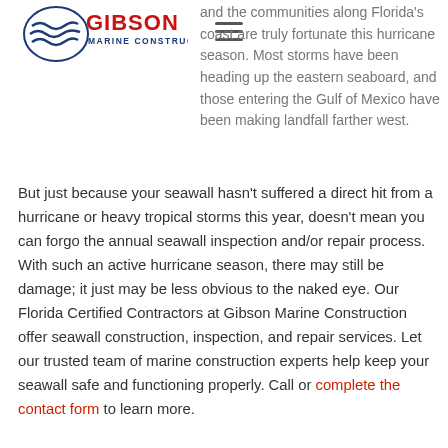[Figure (logo): Gibson Marine Construction logo with wave graphic and red/blue text]
and the communities along Florida's coast are truly fortunate this hurricane season. Most storms have been heading up the eastern seaboard, and those entering the Gulf of Mexico have been making landfall farther west.
But just because your seawall hasn't suffered a direct hit from a hurricane or heavy tropical storms this year, doesn't mean you can forgo the annual seawall inspection and/or repair process. With such an active hurricane season, there may still be damage; it just may be less obvious to the naked eye. Our Florida Certified Contractors at Gibson Marine Construction offer seawall construction, inspection, and repair services. Let our trusted team of marine construction experts help keep your seawall safe and functioning properly. Call or complete the contact form to learn more.